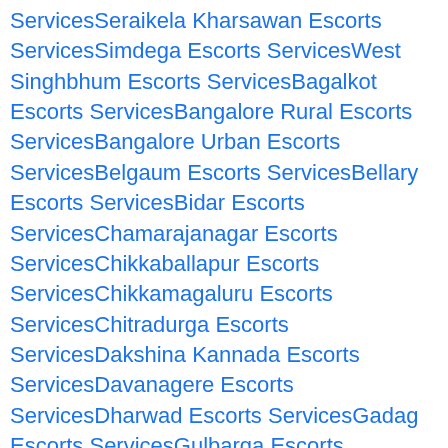ServicesSeraikela Kharsawan Escorts ServicesSimdega Escorts ServicesWest Singhbhum Escorts ServicesBagalkot Escorts ServicesBangalore Rural Escorts ServicesBangalore Urban Escorts ServicesBelgaum Escorts ServicesBellary Escorts ServicesBidar Escorts ServicesChamarajanagar Escorts ServicesChikkaballapur Escorts ServicesChikkamagaluru Escorts ServicesChitradurga Escorts ServicesDakshina Kannada Escorts ServicesDavanagere Escorts ServicesDharwad Escorts ServicesGadag Escorts ServicesGulbarga Escorts ServicesHassan Escorts ServicesHaveri Escorts ServicesKodagu Escorts ServicesKolar Escorts ServicesKoppal Escorts ServicesMandya Escorts ServicesMysore Escorts ServicesRaichur Escorts ServicesRamanagara Escorts Services...